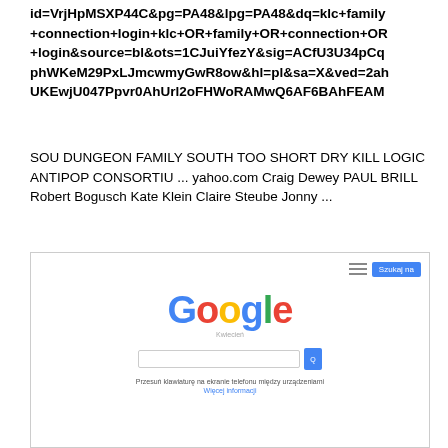id=VrjHpMSXP44C&pg=PA48&lpg=PA48&dq=klc+family+connection+login+klc+OR+family+OR+connection+OR+login&source=bl&ots=1CJuiYfezY&sig=ACfU3U34pCqphWKeM29PxLJmcwmyGwR8ow&hl=pl&sa=X&ved=2ahUKEwjU047Ppvr0AhUrl2oFHWoRAMwQ6AF6BAhFEAM
SOU DUNGEON FAMILY SOUTH TOO SHORT DRY KILL LOGIC ANTIPOP CONSORTIU ... yahoo.com Craig Dewey PAUL BRILL Robert Bogusch Kate Klein Claire Steube Jonny ...
[Figure (screenshot): Screenshot of the Google homepage with the Google logo, a search input box, a search button, and a small link text below. There is a menu icon and a blue button in the top right corner.]